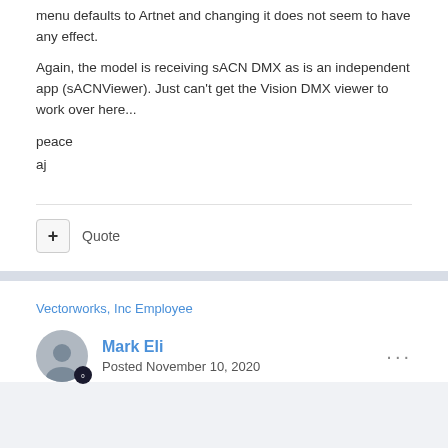menu defaults to Artnet and changing it does not seem to have any effect.
Again, the model is receiving sACN DMX as is an independent app (sACNViewer). Just can't get the Vision DMX viewer to work over here...
peace
aj
Quote
Vectorworks, Inc Employee
Mark Eli
Posted November 10, 2020